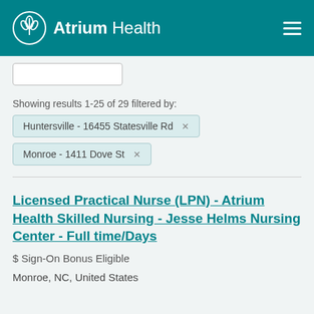Atrium Health
[Figure (other): Search input box]
Showing results 1-25 of 29 filtered by:
Huntersville - 16455 Statesville Rd ×
Monroe - 1411 Dove St ×
Licensed Practical Nurse (LPN) - Atrium Health Skilled Nursing - Jesse Helms Nursing Center - Full time/Days
$ Sign-On Bonus Eligible
Monroe, NC, United States